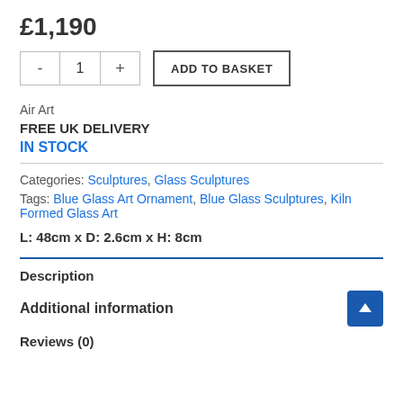£1,190
- 1 + ADD TO BASKET
Air Art
FREE UK DELIVERY
IN STOCK
Categories: Sculptures, Glass Sculptures
Tags: Blue Glass Art Ornament, Blue Glass Sculptures, Kiln Formed Glass Art
L: 48cm x D: 2.6cm x H: 8cm
Description
Additional information
Reviews (0)